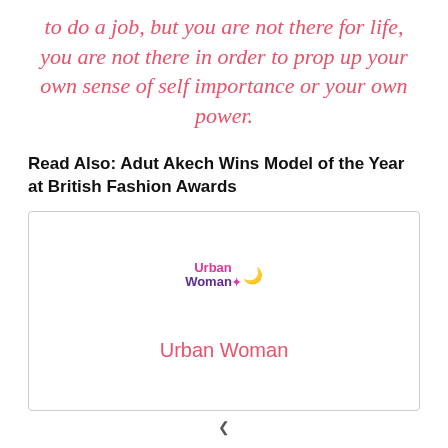to do a job, but you are not there for life, you are not there in order to prop up your own sense of self importance or your own power.
Read Also: Adut Akech Wins Model of the Year at British Fashion Awards
[Figure (logo): Urban Woman magazine logo with stylized text showing 'Urban' in pink and 'Woman' in purple with a crescent moon icon, followed by the text 'Urban Woman' in pink below]